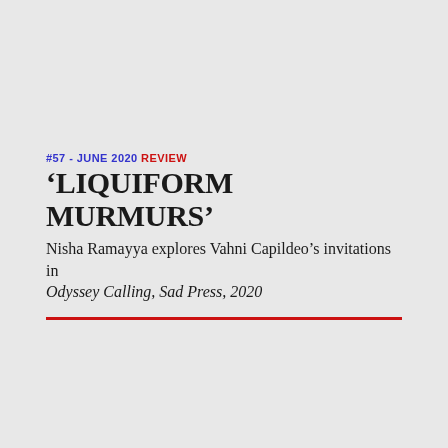#57 - JUNE 2020 REVIEW
‘LIQUIFORM MURMURS’
Nisha Ramayya explores Vahni Capildeo’s invitations in Odyssey Calling, Sad Press, 2020